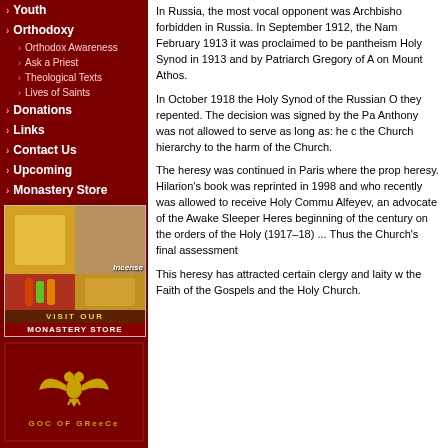Youth
Orthodoxy
Orthodox Awareness
Ask a Priest
Theological Texts
Lives of Saints
Donations
Links
Contact Us
Upcoming
Monastery Store
[Figure (photo): Monastery store advertisement showing candles, incense, and other items with 'VISIT OUR' and 'MONASTERY STORE' text]
[Figure (logo): GOC of Greece logo with double-headed eagle in gold on dark red background]
In Russia, the most vocal opponent was Archbishop forbidden in Russia. In September 1912, the Nam February 1913 it was proclaimed to be pantheism Holy Synod in 1913 and by Patriarch Gregory of A on Mount Athos.
In October 1918 the Holy Synod of the Russian O they repented. The decision was signed by the Pa Anthony was not allowed to serve as long as: he c the Church hierarchy to the harm of the Church.
The heresy was continued in Paris where the prop heresy. Hilarion's book was reprinted in 1998 and who recently was allowed to receive Holy Commu Alfeyev, an advocate of the Awake Sleeper Heres beginning of the century on the orders of the Holy (1917–18) ... Thus the Church's final assessment
This heresy has attracted certain clergy and laity w the Faith of the Gospels and the Holy Church.